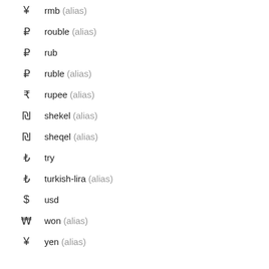¥ rmb (alias)
₽ rouble (alias)
₽ rub
₽ ruble (alias)
₹ rupee (alias)
₪ shekel (alias)
₪ sheqel (alias)
₺ try
₺ turkish-lira (alias)
$ usd
₩ won (alias)
¥ yen (alias)
Text Editor Icons